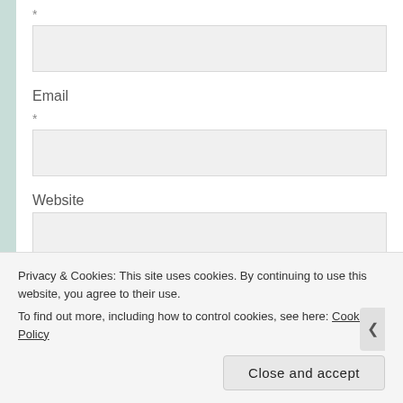*
[Figure (screenshot): Empty form input box for first field]
Email
*
[Figure (screenshot): Empty form input box for Email field]
Website
[Figure (screenshot): Empty form input box for Website field]
[Figure (screenshot): Teal/green submit button (partial)]
Privacy & Cookies: This site uses cookies. By continuing to use this website, you agree to their use.
To find out more, including how to control cookies, see here: Cookie Policy
Close and accept